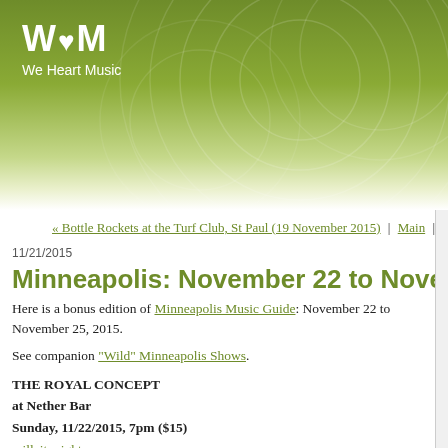[Figure (logo): We Heart Music logo with WvM text in white on green gradient background with decorative circles]
« Bottle Rockets at the Turf Club, St Paul (19 November 2015) | Main | Min...
11/21/2015
Minneapolis: November 22 to November 25, 2...
Here is a bonus edition of Minneapolis Music Guide: November 22 to November 25, 2015.
See companion "Wild" Minneapolis Shows.
THE ROYAL CONCEPT
at Nether Bar
Sunday, 11/22/2015, 7pm ($15)
millcitynights.com
The Royal Concept is returning to Minneapolis tomorrow, November 22nd, at the Nether Bar (inside Mill City Nights). The